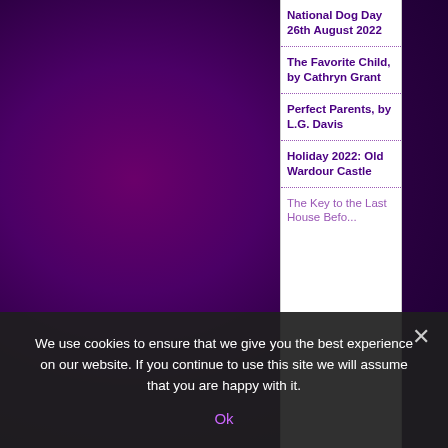National Dog Day 26th August 2022
The Favorite Child, by Cathryn Grant
Perfect Parents, by L.G. Davis
Holiday 2022: Old Wardour Castle
The Key to the Last House Before T...
We use cookies to ensure that we give you the best experience on our website. If you continue to use this site we will assume that you are happy with it.
Ok